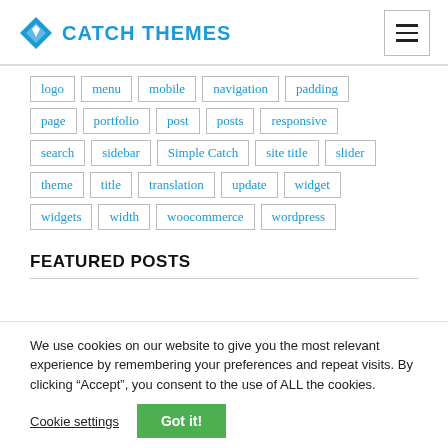CATCH THEMES
logo, menu, mobile, navigation, padding, page, portfolio, post, posts, responsive, search, sidebar, Simple Catch, site title, slider, theme, title, translation, update, widget, widgets, width, woocommerce, wordpress
FEATURED POSTS
We use cookies on our website to give you the most relevant experience by remembering your preferences and repeat visits. By clicking “Accept”, you consent to the use of ALL the cookies.
Cookie settings | Got it!